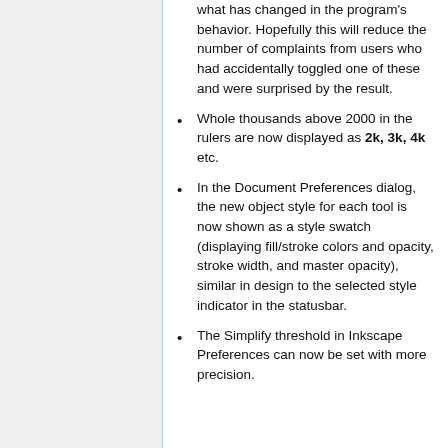what has changed in the program's behavior. Hopefully this will reduce the number of complaints from users who had accidentally toggled one of these and were surprised by the result.
Whole thousands above 2000 in the rulers are now displayed as 2k, 3k, 4k etc.
In the Document Preferences dialog, the new object style for each tool is now shown as a style swatch (displaying fill/stroke colors and opacity, stroke width, and master opacity), similar in design to the selected style indicator in the statusbar.
The Simplify threshold in Inkscape Preferences can now be set with more precision.